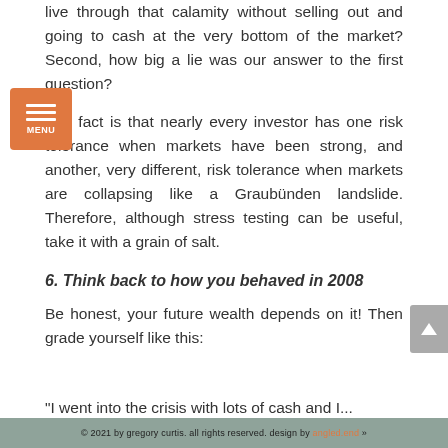live through that calamity without selling out and going to cash at the very bottom of the market? Second, how big a lie was our answer to the first question?
The fact is that nearly every investor has one risk tolerance when markets have been strong, and another, very different, risk tolerance when markets are collapsing like a Graubünden landslide. Therefore, although stress testing can be useful, take it with a grain of salt.
6. Think back to how you behaved in 2008
Be honest, your future wealth depends on it! Then grade yourself like this:
"I went into the crisis with lots of cash and I...
© 2021 by gregory curtis. all rights reserved. design by angled.end »